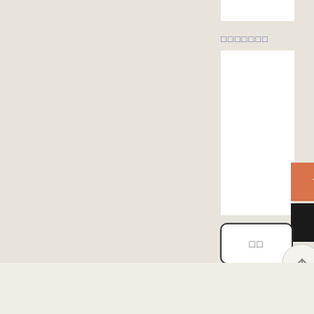[Figure (screenshot): White input box at top right of beige background]
xxxxxxx
[Figure (screenshot): White tall rectangular input/text area box]
[Figure (screenshot): TWD orange button on right side]
[Figure (screenshot): USD dark/black button on right side]
[Figure (screenshot): Rounded rectangle button with CJK characters]
[Figure (screenshot): Circular arrow-up button]
All rights reserved to POINTS OF YOU®
[Figure (screenshot): Three black social media circles in footer]
[Figure (logo): Green circular icon logo on right of footer]